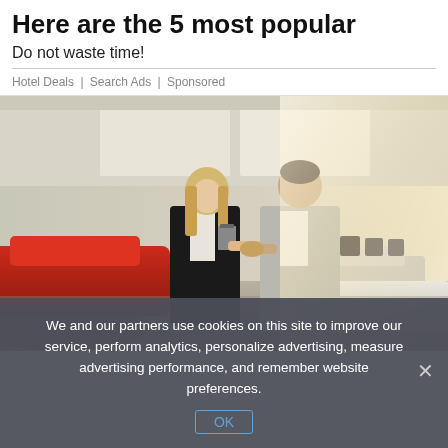Here are the 5 most popular
Do not waste time!
Hotel Deals | Search Ads | Sponsored
[Figure (photo): Two people shaking hands in a car dealership showroom. A blonde woman in a black blazer holding a clipboard shakes hands with a man in a grey suit. Red and white cars are visible in the background.]
We and our partners use cookies on this site to improve our service, perform analytics, personalize advertising, measure advertising performance, and remember website preferences.
OK